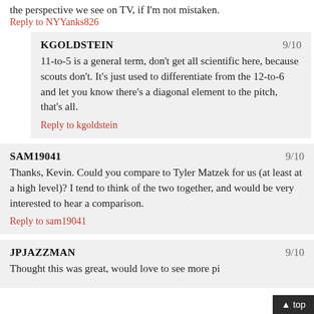the perspective we see on TV, if I'm not mistaken.
Reply to NYYanks826
KGOLDSTEIN
9/10
11-to-5 is a general term, don't get all scientific here, because scouts don't. It's just used to differentiate from the 12-to-6 and let you know there's a diagonal element to the pitch, that's all.
Reply to kgoldstein
SAM19041
9/10
Thanks, Kevin. Could you compare to Tyler Matzek for us (at least at a high level)? I tend to think of the two together, and would be very interested to hear a comparison.
Reply to sam19041
JPJAZZMAN
9/10
Thought this was great, would love to see more pi